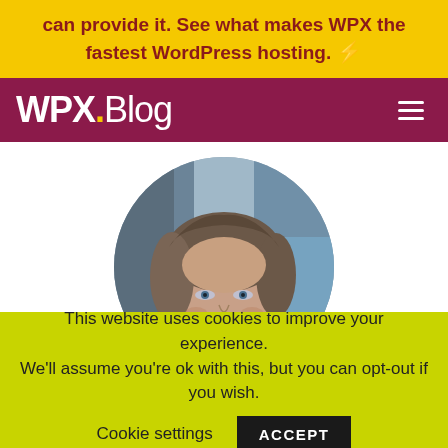can provide it. See what makes WPX the fastest WordPress hosting. ⚡
WPX.Blog
[Figure (photo): Circular portrait photo of a middle-aged man with medium-length gray-brown hair and blue eyes, wearing a red shirt, with a blurred industrial background.]
This website uses cookies to improve your experience. We'll assume you're ok with this, but you can opt-out if you wish.    Cookie settings    ACCEPT